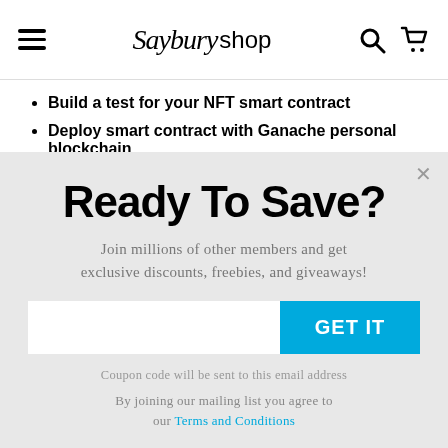Saybury shop
Build a test for your NFT smart contract
Deploy smart contract with Ganache personal blockchain
Ready To Save?
Join millions of other members and get exclusive discounts, freebies, and giveaways!
GET IT
Coupon code will be sent to this email address
By joining our mailing list you agree to our Terms and Conditions